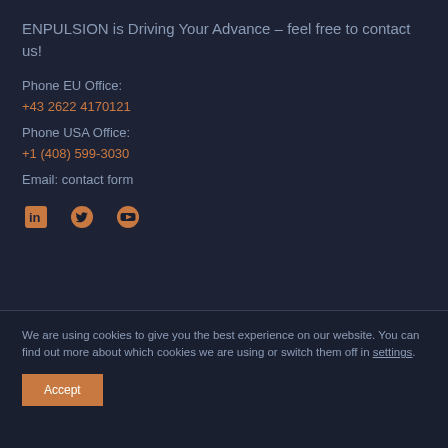ENPULSION is Driving Your Advance – feel free to contact us!
Phone EU Office:
+43 2622 4170121
Phone USA Office:
+1 (408) 599-3030
Email: contact form
[Figure (other): Social media icons: LinkedIn, Twitter, YouTube in orange/amber color]
We are using cookies to give you the best experience on our website. You can find out more about which cookies we are using or switch them off in settings.
Accept